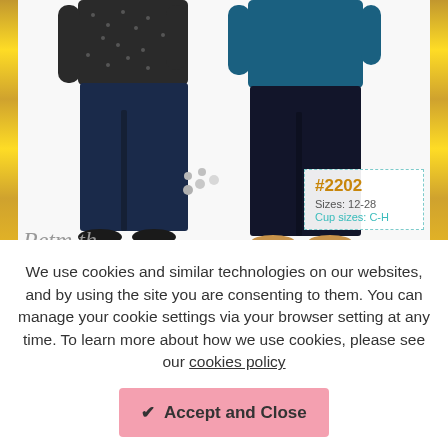[Figure (photo): Two female models wearing dark jeans against a white background with golden bokeh border decoration. A product tag overlay shows '#2202, Sizes: 12-28, Cup sizes: C-H' with dashed teal border. A partial italic text appears at bottom. A loading spinner is partially visible.]
We use cookies and similar technologies on our websites, and by using the site you are consenting to them. You can manage your cookie settings via your browser setting at any time. To learn more about how we use cookies, please see our cookies policy
✔ Accept and Close